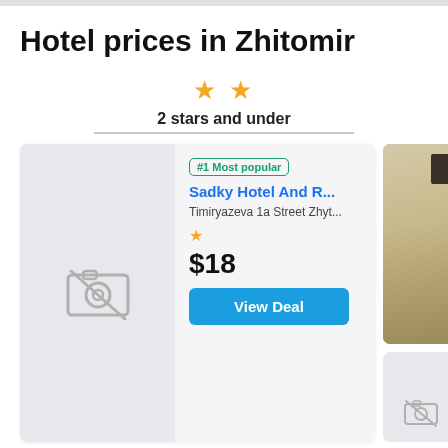Hotel prices in Zhitomir
2 stars and under
[Figure (screenshot): Hotel listing card for Sadky Hotel And R... with no-photo placeholder, badge '#1 Most popular', address 'Timiryazeva 1a Street Zhyt...', 1 star rating, price $18, and 'View Deal' button]
[Figure (photo): Photo of a hotel room interior showing a corridor with a door and furniture]
[Figure (photo): Partial second hotel card with no-photo placeholder icon]